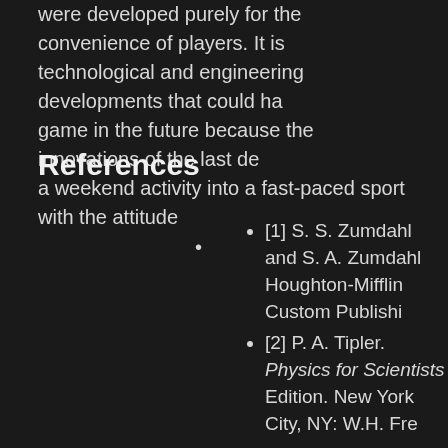were developed purely for the convenience of players. It is technological and engineering developments that could have the game in the future because the innovations of the last de… a weekend activity into a fast-paced sport with the attitude…
References
[1] S. S. Zumdahl and S. A. Zumdahl… Houghton-Mifflin Custom Publishing…
[2] P. A. Tipler. Physics for Scientists… Edition. New York City, NY: W.H. Fre…
[3] J. R. Little and C. F. Wong. Ultima… Contemporary Books, 2001.
[4] J. Sparks, et al. "Viewloader Oric…
[5] J. Braun, et al. The Complete Guid… Island City, NY, 2003.
Janecka, Larry, et al. "Into the Brea…